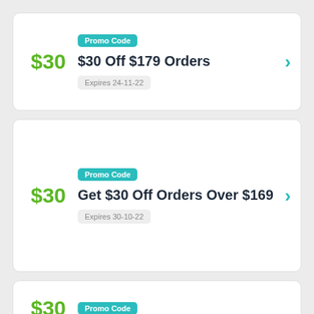$30 | Promo Code | $30 Off $179 Orders | Expires 24-11-22
$30 | Promo Code | Get $30 Off Orders Over $169 | Expires 30-10-22
$30 | Promo Code